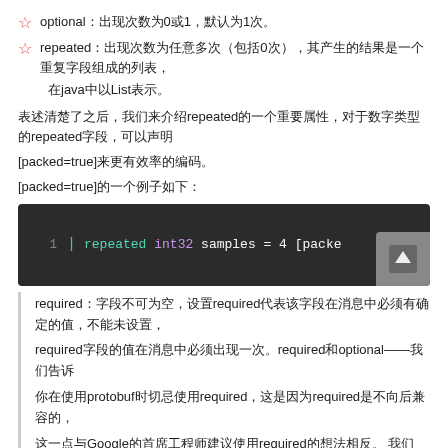optional：出现次数为0或1，默认为1次。
repeated：出现次数为任意多次（包括0次），其产生的结果是一个重复字段组成的列表，在java中以List表示。
表述清楚了之后，我们来介绍repeated的一个重要属性，对于数字类型的repeated字段，可以声明[packed=true]来更有效率的编码。
[packed=true]的一个例子如下：
[Figure (screenshot): Code block showing: 1  |  repeated int32 samples = 4 [packe]
required：字段不可为空，设置required代表该字段在消息中必须有确定的值，不能未设置，required字段的值在消息中必须出现一次。required和optional——我们告诉你在使用protobuf时切忌使用required，这是因为required是不向后兼容的，这一点与Google的首席工程师建议使用required的想法相反。 optional和repeated和required相互独立，也就是说，一个字段可以设置其中的一个。